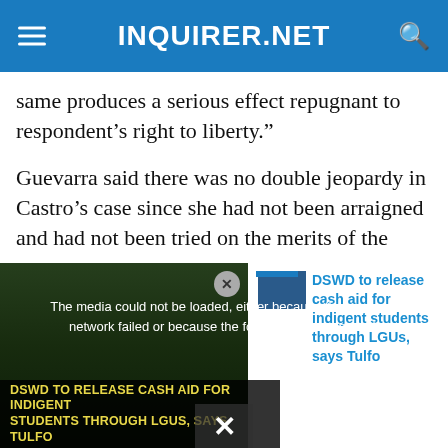INQUIRER.NET
same produces a serious effect repugnant to respondent’s right to liberty.”
Guevarra said there was no double jeopardy in Castro’s case since she had not been arraigned and had not been tried on the merits of the case.
If there had been lapses, law enforcement agents or prosecutors could also be given the opportunity to correct these, he said.
[Figure (screenshot): Video player overlay showing error message: 'The media could not be loaded, either because the server or network failed or because the format is not supported.' with video thumbnail showing a news segment titled 'DSWD TO RELEASE CASH AID FOR INDIGENT STUDENTS THROUGH LGUS, SAYS TULFO' and a sidebar showing 'DSWD to release cash aid for indigent students through LGUs, says Tulfo']